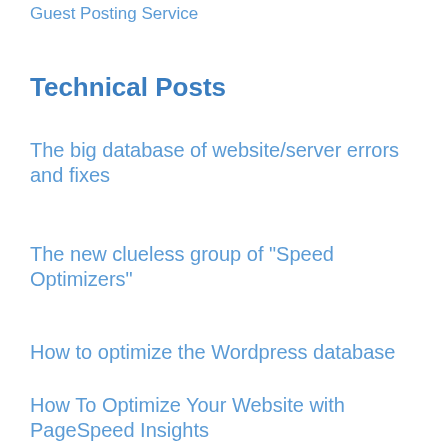Guest Posting Service
Technical Posts
The big database of website/server errors and fixes
The new clueless group of "Speed Optimizers"
How to optimize the Wordpress database
How To Optimize Your Website with PageSpeed Insights